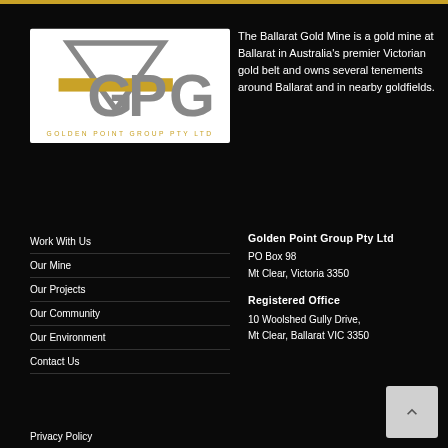[Figure (logo): Golden Point Group Pty Ltd logo with GPG letters and triangular emblem]
The Ballarat Gold Mine is a gold mine at Ballarat in Australia's premier Victorian gold belt and owns several tenements around Ballarat and in nearby goldfields.
Work With Us
Our Mine
Our Projects
Our Community
Our Environment
Contact Us
Golden Point Group Pty Ltd
PO Box 98
Mt Clear, Victoria 3350

Registered Office
10 Woolshed Gully Drive,
Mt Clear, Ballarat VIC 3350
Privacy Policy